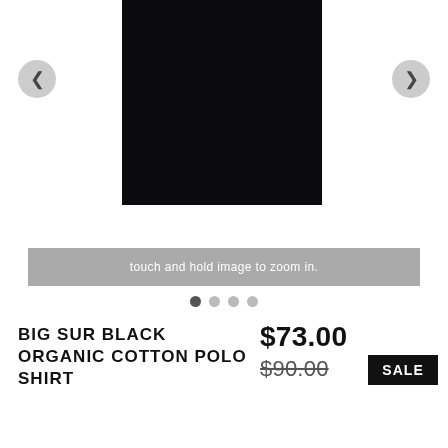[Figure (photo): Black product image of a polo shirt on white background, with left and right navigation arrows and a 'touch and hold image to zoom in' bar below, and four pagination dots]
BIG SUR BLACK ORGANIC COTTON POLO SHIRT
$73.00
$90.00
SALE